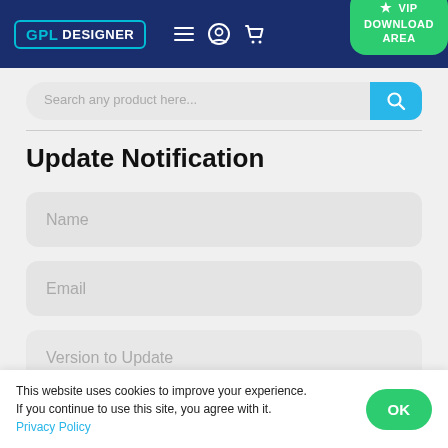GPL DESIGNER — Navigation header with hamburger menu, user icon, cart icon, and VIP DOWNLOAD AREA button
Search any product here...
Update Notification
Name
Email
Version to Update
This website uses cookies to improve your experience. If you continue to use this site, you agree with it. Privacy Policy